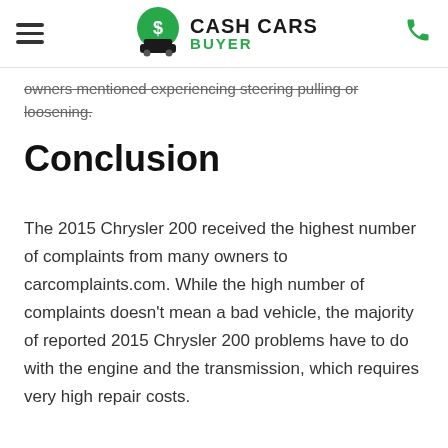Cash Cars Buyer
owners mentioned experiencing steering pulling or loosening.
Conclusion
The 2015 Chrysler 200 received the highest number of complaints from many owners to carcomplaints.com. While the high number of complaints doesn't mean a bad vehicle, the majority of reported 2015 Chrysler 200 problems have to do with the engine and the transmission, which requires very high repair costs.